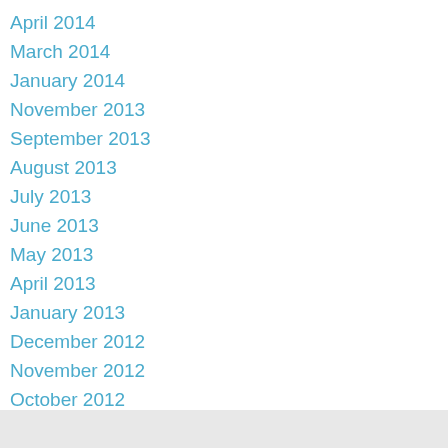April 2014
March 2014
January 2014
November 2013
September 2013
August 2013
July 2013
June 2013
May 2013
April 2013
January 2013
December 2012
November 2012
October 2012
September 2012
August 2012
May 2012
February 2012